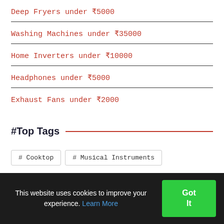Deep Fryers under ₹5000
Washing Machines under ₹35000
Home Inverters under ₹10000
Headphones under ₹5000
Exhaust Fans under ₹2000
#Top Tags
# Cooktop   # Musical Instruments
This website uses cookies to improve your experience. Learn More